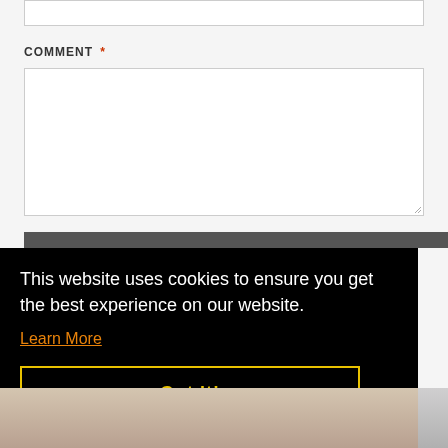COMMENT *
[Figure (screenshot): Comment form textarea with white background and border]
POST COMMENT
This website uses cookies to ensure you get the best experience on our website.
Learn More
Got it!
[Figure (photo): Partial rock/landscape photo at the bottom of the page]